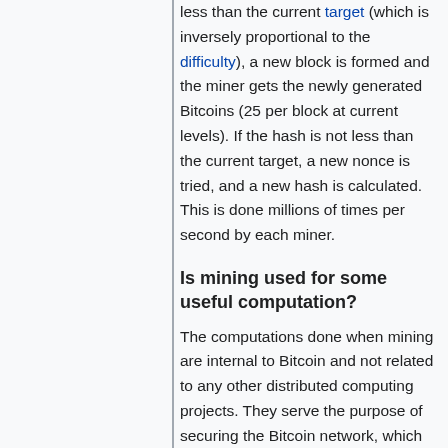less than the current target (which is inversely proportional to the difficulty), a new block is formed and the miner gets the newly generated Bitcoins (25 per block at current levels). If the hash is not less than the current target, a new nonce is tried, and a new hash is calculated. This is done millions of times per second by each miner.
Is mining used for some useful computation?
The computations done when mining are internal to Bitcoin and not related to any other distributed computing projects. They serve the purpose of securing the Bitcoin network, which is useful.
Is it not a waste of energy?
Spending energy on creating and